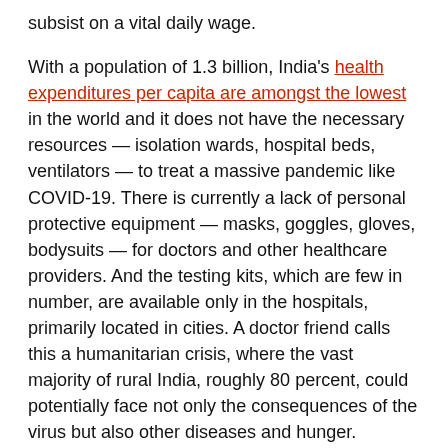subsist on a vital daily wage.
With a population of 1.3 billion, India's health expenditures per capita are amongst the lowest in the world and it does not have the necessary resources — isolation wards, hospital beds, ventilators — to treat a massive pandemic like COVID-19. There is currently a lack of personal protective equipment — masks, goggles, gloves, bodysuits — for doctors and other healthcare providers. And the testing kits, which are few in number, are available only in the hospitals, primarily located in cities. A doctor friend calls this a humanitarian crisis, where the vast majority of rural India, roughly 80 percent, could potentially face not only the consequences of the virus but also other diseases and hunger.
When I arrived in India in early March, I noticed a lackadaisical attitude toward the virus; people were